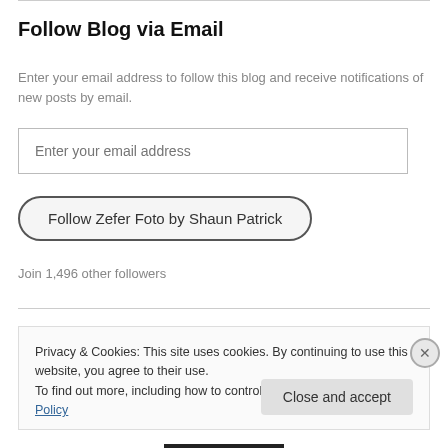Follow Blog via Email
Enter your email address to follow this blog and receive notifications of new posts by email.
Enter your email address
Follow Zefer Foto by Shaun Patrick
Join 1,496 other followers
Privacy & Cookies: This site uses cookies. By continuing to use this website, you agree to their use.
To find out more, including how to control cookies, see here: Cookie Policy
Close and accept